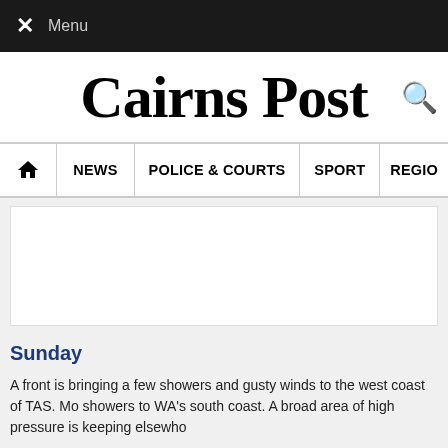✕ Menu
Cairns Post
NEWS   POLICE & COURTS   SPORT   REGIO
[Figure (other): White advertisement/blank content box]
Sunday
A front is bringing a few showers and gusty winds to the west coast of TAS. Mo showers to WA's south coast. A broad area of high pressure is keeping elsewho
Issued Sunday 19:16 AEST